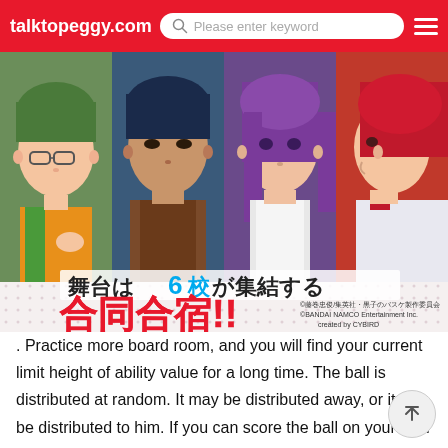talktopeggy.com | Please enter keyword
[Figure (illustration): Anime promotional image showing four male anime characters side by side with Japanese text overlay. Text reads: 舞台は6校が集結する 合同合宿!! with copyright notice: ©藤巻忠俊/集英社・黒子のバスケ製作委員会 ©BANDAI NAMCO Entertainment Inc. created by CYBIRD]
. Practice more board room, and you will find your current limit height of ability value for a long time. The ball is distributed at random. It may be distributed away, or it may be distributed to him. If you can score the ball on your own headHow to improve the success rate of street basketball